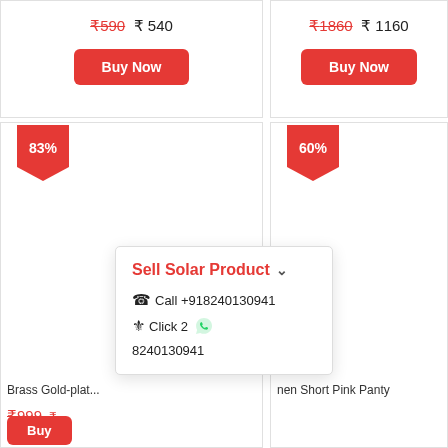₹590 ₹ 540
Buy Now
₹1860 ₹ 1160
Buy Now
[Figure (other): 83% discount badge on product card]
[Figure (other): 60% discount badge on product card]
Brass Gold-plat...
nen Short Pink Panty
Sell Solar Product
Call +918240130941
Click 2 8240130941
₹999 ₹